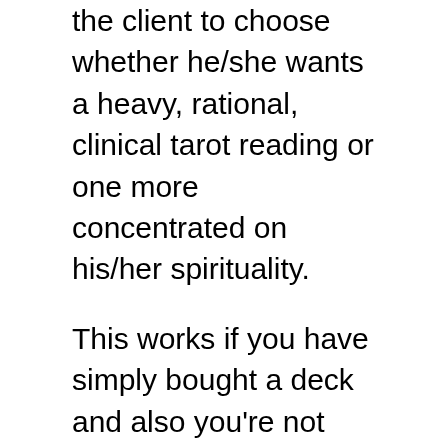the client to choose whether he/she wants a heavy, rational, clinical tarot reading or one more concentrated on his/her spirituality.
This works if you have simply bought a deck and also you're not very sure what you should do to check out Tarot, alright? What we require to get begun is a deck of cards. And also I have selected the Giant Rider-Waite Tarot because I believe that it will certainly simply be much easier for you to see what I am doing.
As well as certainly I will switch over to a table top variation of this video when we need to. First step you need to take before you do a Tarot analysis is determining your inquiry. This is essential because you require